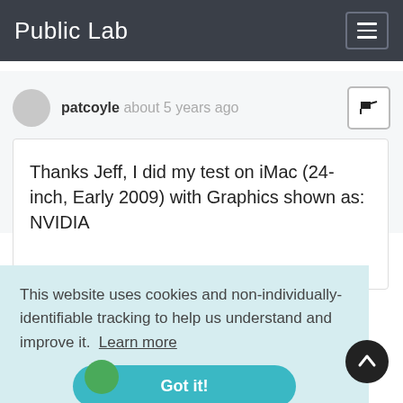Public Lab
patcoyle about 5 years ago
Thanks Jeff, I did my test on iMac (24-inch, Early 2009) with Graphics shown as: NVIDIA
This website uses cookies and non-individually-identifiable tracking to help us understand and improve it. Learn more
Got it!